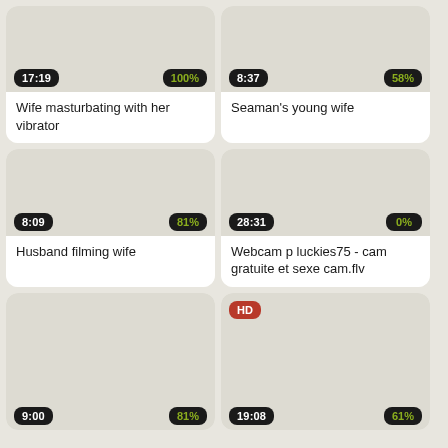[Figure (screenshot): Video thumbnail card: duration 17:19, 100%, title: Wife masturbating with her vibrator]
[Figure (screenshot): Video thumbnail card: duration 8:37, 58%, title: Seaman's young wife]
[Figure (screenshot): Video thumbnail card: duration 8:09, 81%, title: Husband filming wife]
[Figure (screenshot): Video thumbnail card: duration 28:31, 0%, title: Webcam p luckies75 - cam gratuite et sexe cam.flv]
[Figure (screenshot): Video thumbnail card: duration 9:00, 81%, no title visible]
[Figure (screenshot): Video thumbnail card: HD badge, duration 19:08, 61%, no title visible]